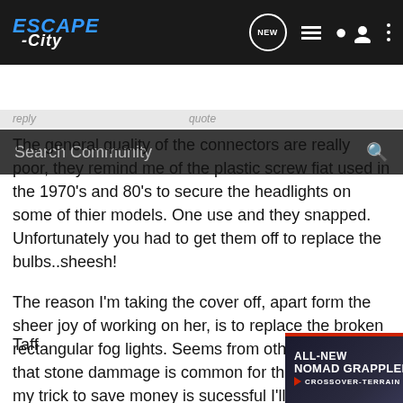ESCAPE -City [navigation bar with NEW, list, user, more icons]
Search Community
The general quality of the connectors are really poor, they remind me of the plastic screw fiat used in the 1970's and 80's to secure the headlights on some of thier models. One use and they snapped. Unfortunately you had to get them off to replace the bulbs..sheesh!
The reason I'm taking the cover off, apart form the sheer joy of working on her, is to replace the broken rectangular fog lights. Seems from other threads that stone dammage is common for these units. If my trick to save money is sucessful I'll post what I've done in a new thread. Looking hopeful so far.
thanks again
Taff
[Figure (other): Advertisement banner for Nitto ALL-NEW NOMAD GRAPPLER CROSSOVER-TERRAIN TIRE]